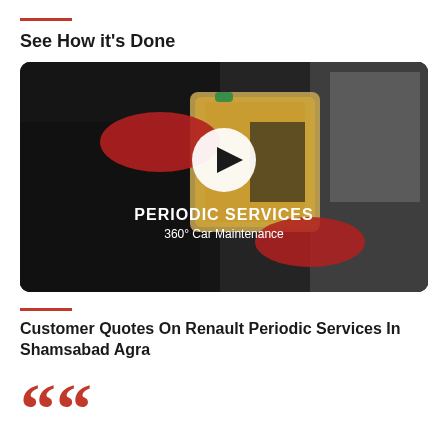See How it's Done
[Figure (screenshot): Video thumbnail showing a mechanic in red gloves pouring engine oil into a car engine. A white circular play button is centered on the image. Text overlay reads 'PERIODIC SERVICES' and '360° Car Maintenance'.]
Customer Quotes On Renault Periodic Services In Shamsabad Agra
““